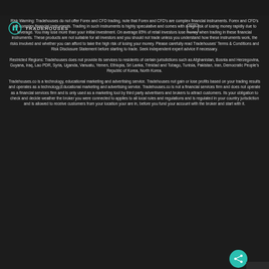Risk Warning: Tradehouses do not offer Forex and CFD trading, note that Forex and CFD's are complex financial instruments. Forex and CFD's are complex financial instruments. Trading in such instruments is highly speculative and comes with a high risk of losing money rapidly due to leverage. You may lose more than your initial investment. On average 85% of retail investors lose money when trading in these financial instruments. These products are not suitable for all investors and you should not trade unless you understand how these instruments work, the risks involved and whether you can afford to take the high risk of losing your money. Please carefully read Tradehouses' Terms & Conditions and Risk Disclosure Statement before starting to trade. Seek independent expert advice if necessary.
Restricted Regions: Tradehouses does not provide its services to residents of certain jurisdictions such as Afghanistan, Bosnia and Herzegovina, Guyana, Iraq, Lao PDR, Syria, Uganda, Vanuatu, Yemen, Ethiopia, Sri Lanka, Trinidad and Tobago, Tunisia, Pakistan, Iran, Democratic People's Republic of Korea, North Korea.
Tradehouses.co is a technology, educational marketing and advertising service. Tradehouses not gain or lose profits based on your trading results and operates as a technology,Educational marketing and advertising service. Tradehouses.co is not a financial services firm and does not operate as a financial services firm and is only used as a marketing tool by third party advertisers and brokers to attract customers. Its your obligation to check and decide weather the broker you were connected to applies to all local rules and regulations and is regulated in your country jurisdiction and is allowed to receive customers from your location your are in, before you fund your account with the broker and start with it.